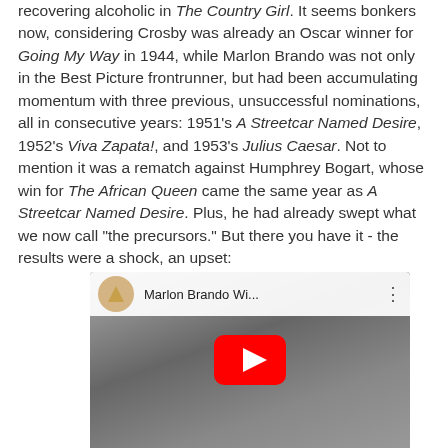recovering alcoholic in The Country Girl. It seems bonkers now, considering Crosby was already an Oscar winner for Going My Way in 1944, while Marlon Brando was not only in the Best Picture frontrunner, but had been accumulating momentum with three previous, unsuccessful nominations, all in consecutive years: 1951's A Streetcar Named Desire, 1952's Viva Zapata!, and 1953's Julius Caesar. Not to mention it was a rematch against Humphrey Bogart, whose win for The African Queen came the same year as A Streetcar Named Desire. Plus, he had already swept what we now call "the precursors." But there you have it - the results were a shock, an upset:
[Figure (screenshot): YouTube video embed thumbnail showing Marlon Brando in black and white, with video title 'Marlon Brando Wi...' and a red YouTube play button overlay. The top bar shows the Oscars logo (gold triangle on beige circle) and a three-dot menu icon.]